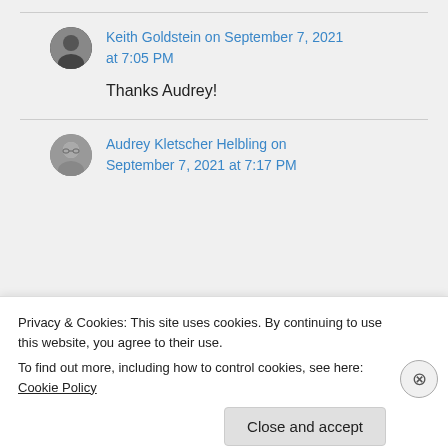Keith Goldstein on September 7, 2021 at 7:05 PM
Thanks Audrey!
Audrey Kletscher Helbling on September 7, 2021 at 7:17 PM
Privacy & Cookies: This site uses cookies. By continuing to use this website, you agree to their use.
To find out more, including how to control cookies, see here: Cookie Policy
Close and accept